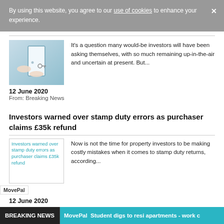By using this website, you agree to our use of cookies to enhance your experience.
[Figure (photo): Hand passing keys at a doorway — property/real estate illustration]
It's a question many would-be investors will have been asking themselves, with so much remaining up-in-the-air and uncertain at present. But...
12 June 2020
From: Breaking News
Investors warned over stamp duty errors as purchaser claims £35k refund
[Figure (photo): Investors warned over stamp duty errors as purchaser claims £35k refund — broken image placeholder with MovePal logo]
Now is not the time for property investors to be making costly mistakes when it comes to stamp duty returns, according...
12 June 2020
BREAKING NEWS | MovePal  Student digs to resi apartments - work c